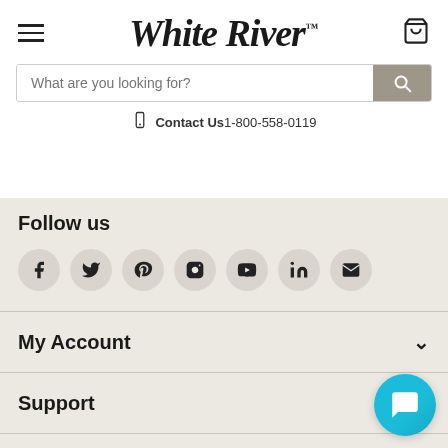[Figure (logo): White River brand logo in italic serif font]
What are you looking for?
Contact Us 1-800-558-0119
Follow us
[Figure (infographic): Social media icons: Facebook, Twitter, Pinterest, Instagram, YouTube, LinkedIn, Email]
My Account
Support
Products & Services